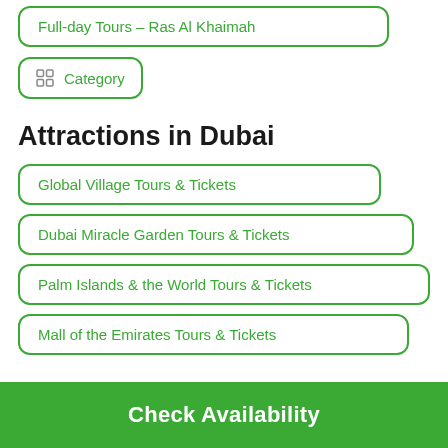Full-day Tours – Ras Al Khaimah
Category
Attractions in Dubai
Global Village Tours & Tickets
Dubai Miracle Garden Tours & Tickets
Palm Islands & the World Tours & Tickets
Mall of the Emirates Tours & Tickets
Check Availability